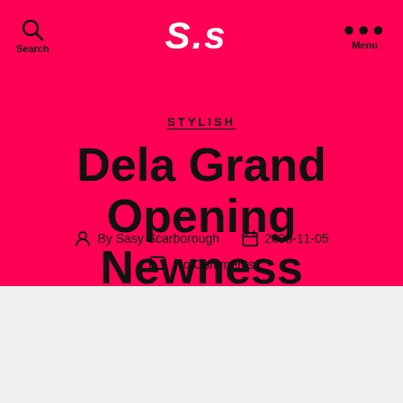Search  S.S  Menu
STYLISH
Dela Grand Opening Newness
By Sasy Scarborough  2008-11-05  No Comments